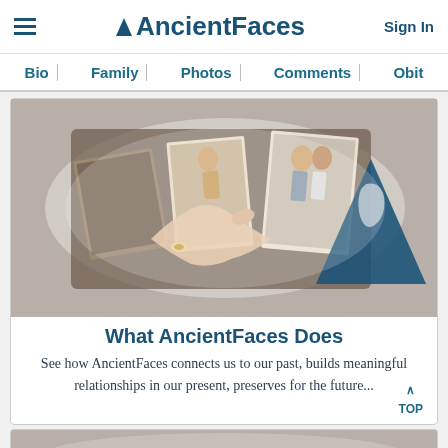AncientFaces | Sign In
Bio | Family | Photos | Comments | Obit
[Figure (photo): Collage photo showing hands browsing old family photos in an album, vintage portraits of a child and a couple, overlaid with the AncientFaces triangle logo silhouette]
What AncientFaces Does
See how AncientFaces connects us to our past, builds meaningful relationships in our present, preserves for the future...
[Figure (photo): Partial bottom card showing another photo or content area]